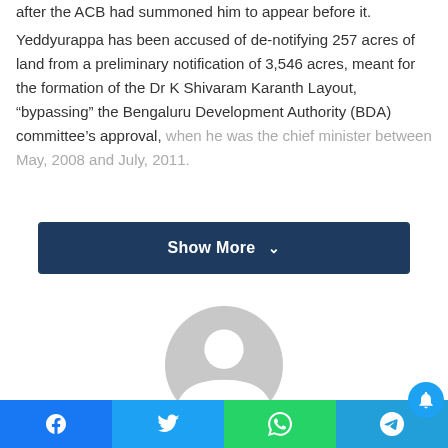after the ACB had summoned him to appear before it.
Yeddyurappa has been accused of de-notifying 257 acres of land from a preliminary notification of 3,546 acres, meant for the formation of the Dr K Shivaram Karanth Layout, “bypassing” the Bengaluru Development Authority (BDA) committee’s approval, when he was the chief minister between May, 2008 and July, 2011.
[Figure (other): Show More button with dark navy background and white bold text with a downward chevron icon]
[Figure (illustration): Generic user avatar placeholder circle in light gray]
[Figure (other): Social share bar with Facebook, Twitter, WhatsApp, and Telegram buttons, plus a notification bell bubble]